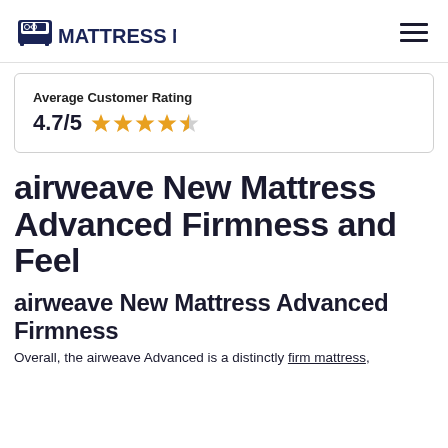Mattress Nerd
Average Customer Rating
4.7/5 ★★★★½
airweave New Mattress Advanced Firmness and Feel
airweave New Mattress Advanced Firmness
Overall, the airweave Advanced is a distinctly firm mattress,